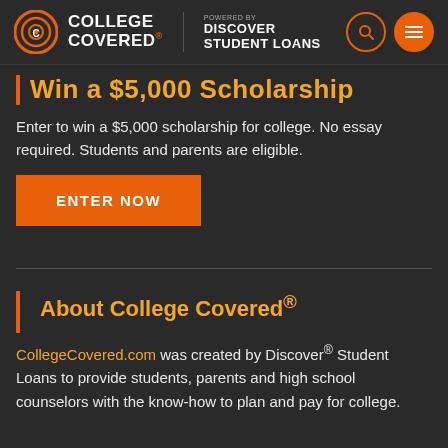College Covered — Powered by Discover Student Loans
Win a $5,000 Scholarship
Enter to win a $5,000 scholarship for college. No essay required. Students and parents are eligible.
ENTER NOW
About College Covered®
CollegeCovered.com was created by Discover® Student Loans to provide students, parents and high school counselors with the know-how to plan and pay for college.